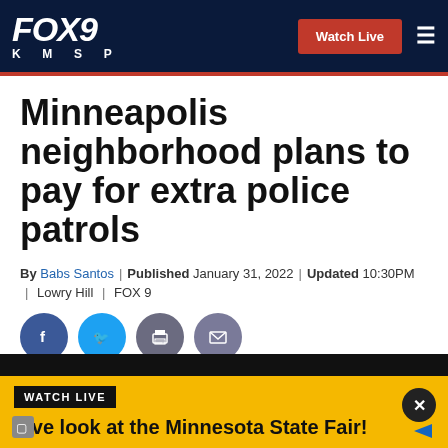FOX 9 KMSP | Watch Live
Minneapolis neighborhood plans to pay for extra police patrols
By Babs Santos | Published January 31, 2022 | Updated 10:30PM | Lowry Hill | FOX 9
[Figure (other): Social media sharing icons: Facebook, Twitter, Print, Email]
[Figure (screenshot): Watch Live ad banner: Live look at the Minnesota State Fair! Watch FOX 9's live camera near the Giant Slide at the Great Minnesota Get-Together.]